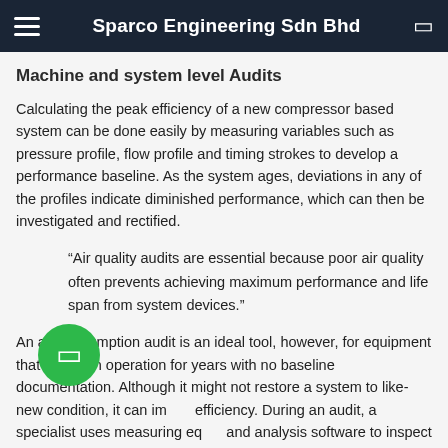Sparco Engineering Sdn Bhd
Machine and system level Audits
Calculating the peak efficiency of a new compressor based system can be done easily by measuring variables such as pressure profile, flow profile and timing strokes to develop a performance baseline. As the system ages, deviations in any of the profiles indicate diminished performance, which can then be investigated and rectified.
“Air quality audits are essential because poor air quality often prevents achieving maximum performance and life span from system devices.”
An air consumption audit is an ideal tool, however, for equipment that's been in operation for years with no baseline documentation. Although it might not restore a system to like-new condition, it can improve efficiency. During an audit, a specialist uses measuring equipment and analysis software to inspect a machine in standby, off and running modes. Consumption figures for each mode are compiled and the machine is evaluated on a component-by-